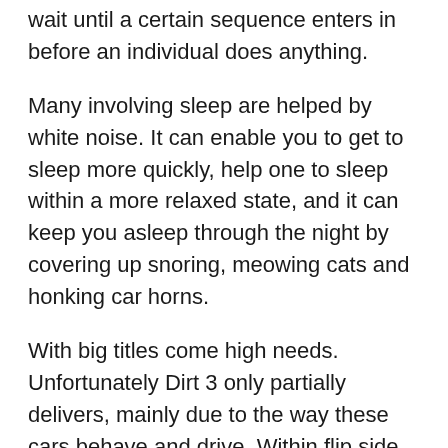wait until a certain sequence enters in before an individual does anything.
Many involving sleep are helped by white noise. It can enable you to get to sleep more quickly, help one to sleep within a more relaxed state, and it can keep you asleep through the night by covering up snoring, meowing cats and honking car horns.
With big titles come high needs. Unfortunately Dirt 3 only partially delivers, mainly due to the way these cars behave and drive. Within flip side, the game does offer plenty of variation and nice gameplay mechanics which make it a joyful experience overall. However these were in Dirt 2 already, leaving me wondering whether the jump is large enough to justify the choice. Dirt...